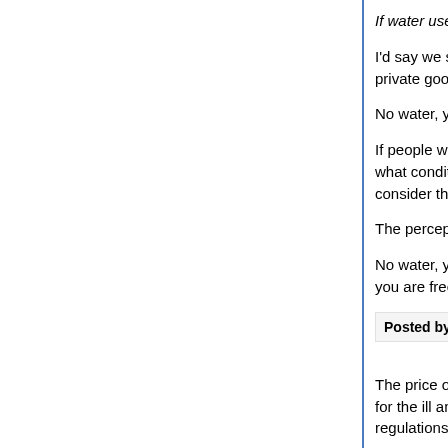If water users had to pay what the market would b…
I'd say we should think twice before we start treat… private good.
No water, you die.
If people want to discuss things in terms of marke… what conditions are required for an efficient marke… consider the consequences of applying market dy…
The perception that markets equal freedom is, IM…
No water, you die. You die, the issue of "your free… you are free to feed worms.
Posted by: russell | December 04, 2020 at 02:07 PM
The price of a subscription to Reason Magazine w… for the ill and dying in those rural hospitals recent… regulations would rise in price or be eliminated.
Water cooled nuclear reactors?
The bl…